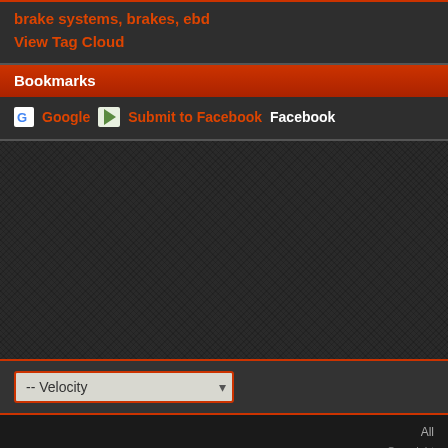brake systems, brakes, ebd
View Tag Cloud
Bookmarks
Google  Submit to Facebook  Facebook
-- Velocity
All
Copyright